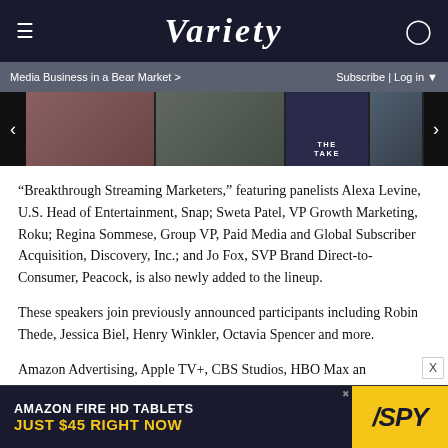VARIETY
Media Business in a Bear Market >  Subscribe | Log in
[Figure (photo): Image carousel showing entertainment photos including celebrities and The Take show panel]
“Breakthrough Streaming Marketers,” featuring panelists Alexa Levine, U.S. Head of Entertainment, Snap; Sweta Patel, VP Growth Marketing, Roku; Regina Sommese, Group VP, Paid Media and Global Subscriber Acquisition, Discovery, Inc.; and Jo Fox, SVP Brand Direct-to-Consumer, Peacock, is also newly added to the lineup.
These speakers join previously announced participants including Robin Thede, Jessica Biel, Henry Winkler, Octavia Spencer and more.
Amazon Advertising, Apple TV+, CBS Studios, HBO Max an
[Figure (infographic): Advertisement banner: AMAZON FIRE HD TABLETS JUST $45 RIGHT NOW - SPY]